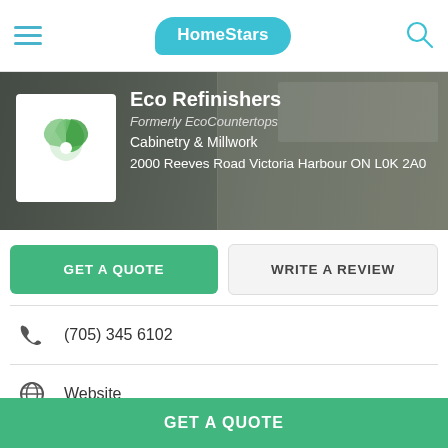[Figure (logo): HomeStars logo — teal speech bubble with white bold text 'HomeStars']
[Figure (screenshot): Hero banner showing kitchen background with Eco Refinishers company logo (green recycling leaves) and company info]
Eco Refinishers
Formerly EcoCountertops
Cabinetry & Millwork
2000 Reeves Road Victoria Harbour ON L0K 2A0
GET A QUOTE
WRITE A REVIEW
(705) 345 6102
Website
HomeStars > Cabinetry & Millwork > Eco Refinishers
GET A QUOTE